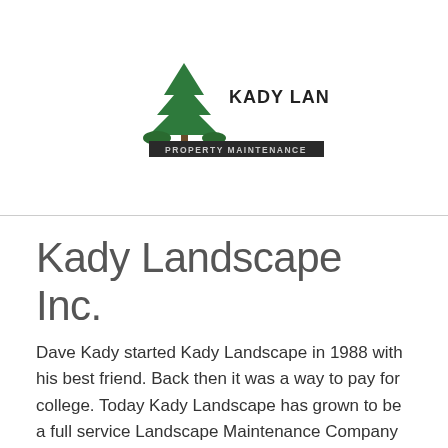[Figure (logo): Kady Landscape Inc. logo with a pine tree graphic and black banner reading 'PROPERTY MAINTENANCE']
Kady Landscape Inc.
Dave Kady started Kady Landscape in 1988 with his best friend. Back then it was a way to pay for college. Today Kady Landscape has grown to be a full service Landscape Maintenance Company serving both residential and commercial customers.
80 Drinkwater Rd Exeter, NH 03833